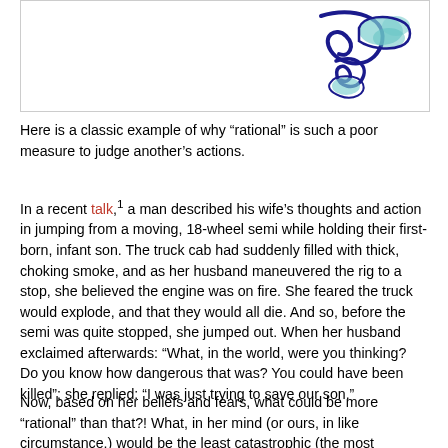[Figure (illustration): Decorative swirl illustration with navy blue and teal/green cloud-like swirl shapes on white background]
Here is a classic example of why “rational” is such a poor measure to judge another’s actions.
In a recent talk,¹ a man described his wife’s thoughts and action in jumping from a moving, 18-wheel semi while holding their first-born, infant son. The truck cab had suddenly filled with thick, choking smoke, and as her husband maneuvered the rig to a stop, she believed the engine was on fire. She feared the truck would explode, and that they would all die. And so, before the semi was quite stopped, she jumped out. When her husband exclaimed afterwards: “What, in the world, were you thinking? Do you know how dangerous that was? You could have been killed”; she replied: “I was just trying to save our son.”
Now, based on her beliefs and fears, what could be more “rational” than that?! What, in her mind (or ours, in like circumstance,) would be the least catastrophic (the most